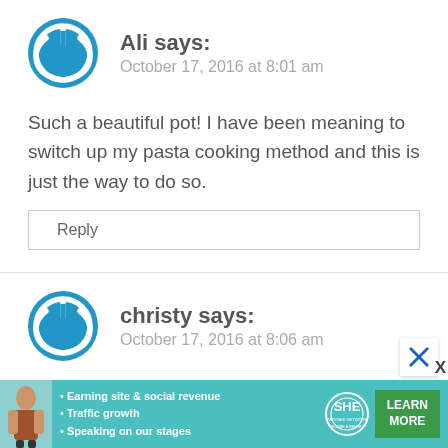[Figure (logo): Blue circular power button icon avatar for user Ali]
Ali says:
October 17, 2016 at 8:01 am
Such a beautiful pot! I have been meaning to switch up my pasta cooking method and this is just the way to do so.
Reply
[Figure (logo): Blue circular power button icon avatar for user christy]
christy says:
October 17, 2016 at 8:06 am
[Figure (infographic): SHE Partner Network advertisement banner with photo of woman, bullet points about earning site & social revenue, traffic growth, speaking on our stages, SHE logo, and LEARN MORE button]